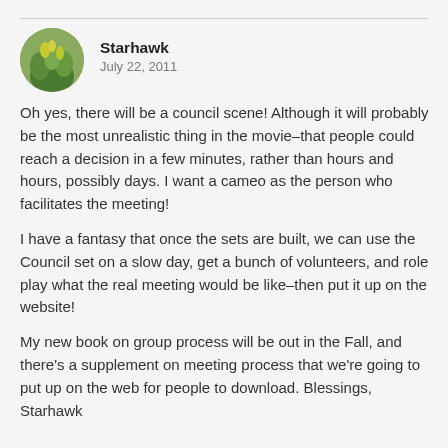[Figure (photo): Circular avatar photo of plants/greenery outdoors]
Starhawk
July 22, 2011
Oh yes, there will be a council scene! Although it will probably be the most unrealistic thing in the movie–that people could reach a decision in a few minutes, rather than hours and hours, possibly days. I want a cameo as the person who facilitates the meeting!
I have a fantasy that once the sets are built, we can use the Council set on a slow day, get a bunch of volunteers, and role play what the real meeting would be like–then put it up on the website!
My new book on group process will be out in the Fall, and there's a supplement on meeting process that we're going to put up on the web for people to download. Blessings, Starhawk